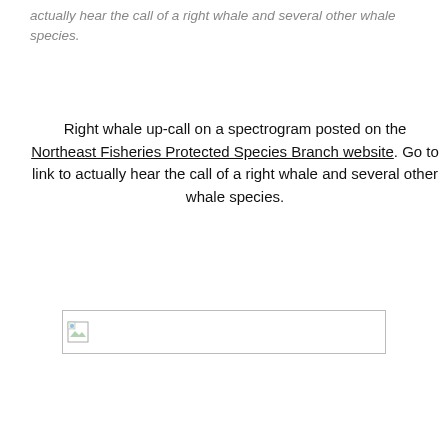actually hear the call of a right whale and several other whale species.
Right whale up-call on a spectrogram posted on the Northeast Fisheries Protected Species Branch website. Go to link to actually hear the call of a right whale and several other whale species.
[Figure (photo): Broken image placeholder representing the right whale up-call spectrogram image]